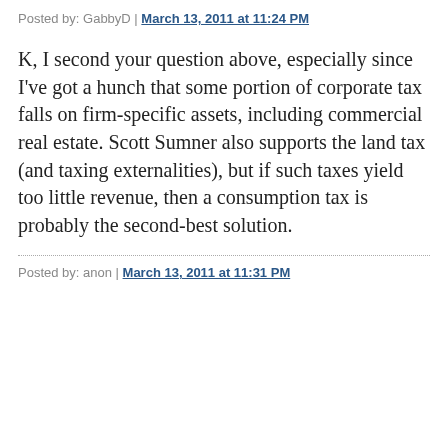Posted by: GabbyD | March 13, 2011 at 11:24 PM
K, I second your question above, especially since I've got a hunch that some portion of corporate tax falls on firm-specific assets, including commercial real estate. Scott Sumner also supports the land tax (and taxing externalities), but if such taxes yield too little revenue, then a consumption tax is probably the second-best solution.
Posted by: anon | March 13, 2011 at 11:31 PM